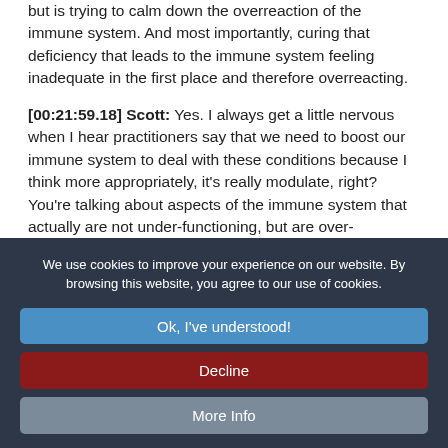but is trying to calm down the overreaction of the immune system. And most importantly, curing that deficiency that leads to the immune system feeling inadequate in the first place and therefore overreacting.
[00:21:59.18] Scott: Yes. I always get a little nervous when I hear practitioners say that we need to boost our immune system to deal with these conditions because I think more appropriately, it's really modulate, right? You're talking about aspects of the immune system that actually are not under-functioning, but are over-functioning and probably a mix of both.
We use cookies to improve your experience on our website. By browsing this website, you agree to our use of cookies.
Ok, I've understood!
Decline
More Info